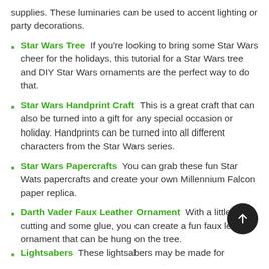supplies. These luminaries can be used to accent lighting or party decorations.
Star Wars Tree  If you're looking to bring some Star Wars cheer for the holidays, this tutorial for a Star Wars tree and DIY Star Wars ornaments are the perfect way to do that.
Star Wars Handprint Craft  This is a great craft that can also be turned into a gift for any special occasion or holiday. Handprints can be turned into all different characters from the Star Wars series.
Star Wars Papercrafts  You can grab these fun Star Wats papercrafts and create your own Millennium Falcon paper replica.
Darth Vader Faux Leather Ornament  With a little cutting and some glue, you can create a fun faux leather ornament that can be hung on the tree.
Lightsabers  These lightsabers may be made for